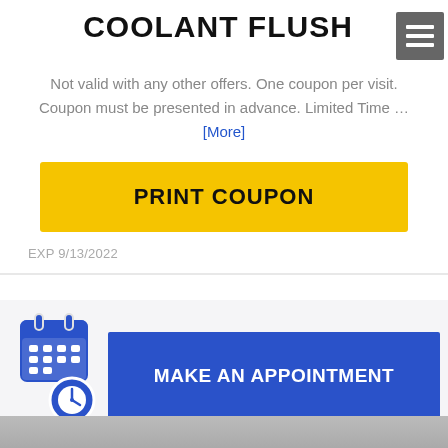COOLANT FLUSH
Not valid with any other offers. One coupon per visit. Coupon must be presented in advance. Limited Time … [More]
PRINT COUPON
EXP 9/13/2022
[Figure (infographic): Calendar with clock icon and blue button labeled MAKE AN APPOINTMENT]
[Figure (photo): Partial view of a car at the bottom of the page]